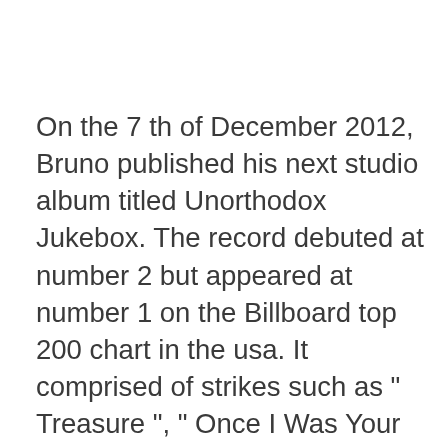On the 7 th of December 2012, Bruno published his next studio album titled Unorthodox Jukebox. The record debuted at number 2 but appeared at number 1 on the Billboard top 200 chart in the usa. It comprised of strikes such as " Treasure ", " Once I Was Your Man " and " Locked from Heaven " that had been number 1 on the US Billboard Hot 100 chart for six months straight. The Unorthodox Jukebox record sold 192,000 copies in the first week of its launch, it failed in Europe and Australia and proceeded to win the Grammy award for Best Pop Vocal Album in 2014. Bruno waited nearly 4 years until he fell his third studio record over the 7 th